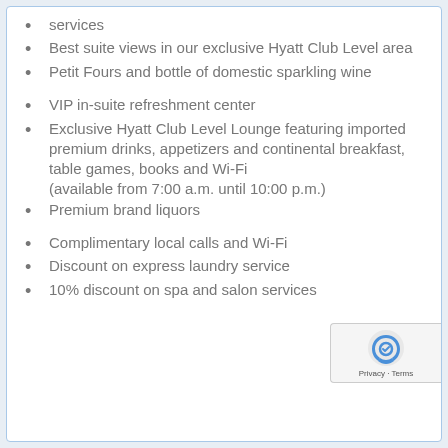services
Best suite views in our exclusive Hyatt Club Level area
Petit Fours and bottle of domestic sparkling wine
VIP in-suite refreshment center
Exclusive Hyatt Club Level Lounge featuring imported premium drinks, appetizers and continental breakfast, table games, books and Wi-Fi (available from 7:00 a.m. until 10:00 p.m.)
Premium brand liquors
Complimentary local calls and Wi-Fi
Discount on express laundry service
10% discount on spa and salon services